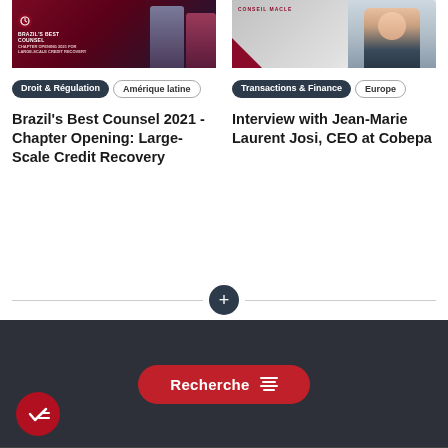[Figure (screenshot): Thumbnail image for Brazil's Best Counsel 2021 article, dark red/navy background with text overlay]
[Figure (screenshot): Thumbnail image for Interview with Jean-Marie Laurent Josi, showing a smiling man in suit]
Droit & Régulation
Amérique latine
Transactions & Finance
Europe
Brazil's Best Counsel 2021 - Chapter Opening: Large-Scale Credit Recovery
Interview with Jean-Marie Laurent Josi, CEO at Cobepa
Recherche
[Figure (infographic): Dark footer bar with red Recherche filter button and checkmark circle icon]